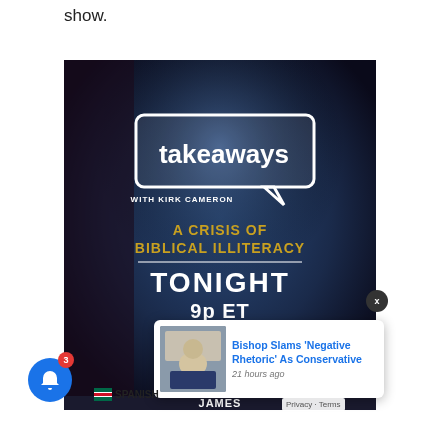show.
[Figure (photo): Promotional graphic for 'Takeaways with Kirk Cameron' TV show on TBN. Text reads: takeaways WITH KIRK CAMERON / A CRISIS OF BIBLICAL ILLITERACY / TONIGHT / 9p ET / TBN. Dark blue/purple background with spotlight effect. Overlaid notification popup shows 'Bishop Slams Negative Rhetoric As Conservative - 21 hours ago' with a thumbnail of a man in a suit. A close button (X), bell notification button with badge '3', Spanish flag with label 'SPANISH', and 'Privacy · Terms' text are also visible.]
Bishop Slams 'Negative Rhetoric' As Conservative — 21 hours ago